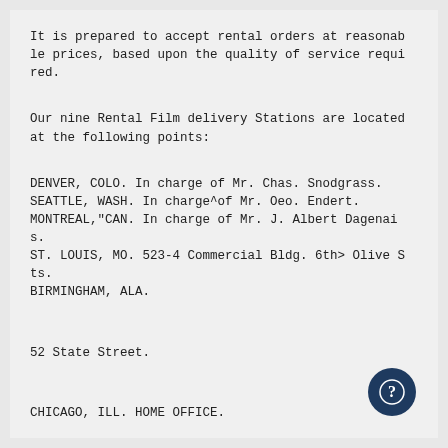It is prepared to accept rental orders at reasonab le prices, based upon the quality of service requi red.
Our nine Rental Film delivery Stations are located at the following points:
DENVER, COLO. In charge of Mr. Chas. Snodgrass.
SEATTLE, WASH. In charge^of Mr. Oeo. Endert.
MONTREAL,"CAN. In charge of Mr. J. Albert Dagenai s.
ST. LOUIS, MO. 523-4 Commercial Bldg. 6th> Olive S ts.
BIRMINGHAM, ALA.
52 State Street.
CHICAGO, ILL. HOME OFFICE.
NEW YORK, N. Y. 662 Sixth Avenue.